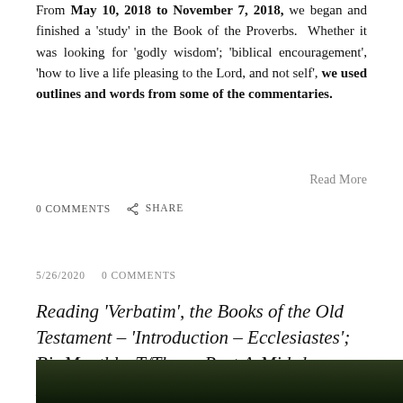From May 10, 2018 to November 7, 2018, we began and finished a 'study' in the Book of the Proverbs. Whether it was looking for 'godly wisdom'; 'biblical encouragement', 'how to live a life pleasing to the Lord, and not self', we used outlines and words from some of the commentaries.
Read More
0 COMMENTS   SHARE
5/26/2020   0 COMMENTS
Reading 'Verbatim', the Books of the Old Testament – 'Introduction – Ecclesiastes'; Bi-Monthly, T/Thurs, Post A-Mid-day, May 26, 2020
[Figure (photo): Dark green tree canopy photo at the bottom of the page]